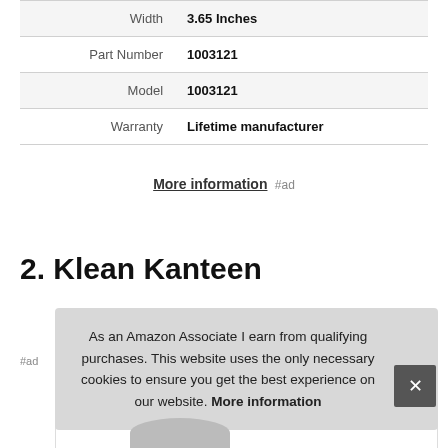| Attribute | Value |
| --- | --- |
| Width | 3.65 Inches |
| Part Number | 1003121 |
| Model | 1003121 |
| Warranty | Lifetime manufacturer |
More information #ad
2. Klean Kanteen
#ad
As an Amazon Associate I earn from qualifying purchases. This website uses the only necessary cookies to ensure you get the best experience on our website. More information